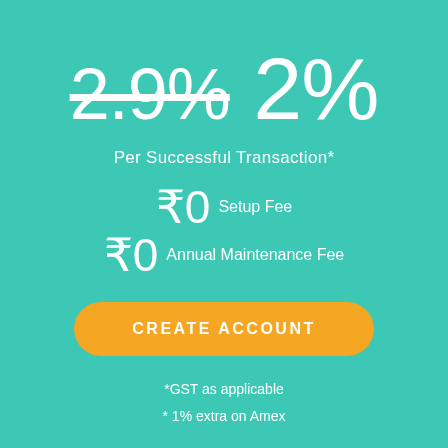2.9% 2%
Per Successful Transaction*
₹0 Setup Fee
₹0 Annual Maintenance Fee
CREATE ACCOUNT
*GST as applicable
* 1% extra on Amex